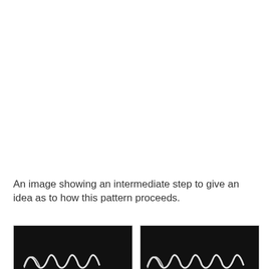An image showing an intermediate step to give an idea as to how this pattern proceeds.
[Figure (photo): Dark background photograph showing white hook/crochet pattern shapes — partial view of an intermediate step in a crochet or knitting pattern.]
[Figure (photo): Dark background photograph showing white hook/crochet pattern shapes — another view of an intermediate step in a crochet or knitting pattern.]